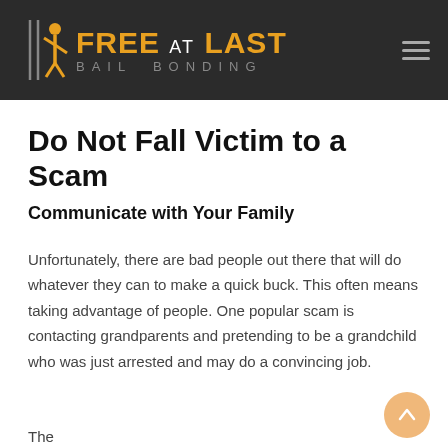[Figure (logo): Free at Last Bail Bonding logo with orange figure icon on dark background header bar]
Do Not Fall Victim to a Scam
Communicate with Your Family
Unfortunately, there are bad people out there that will do whatever they can to make a quick buck. This often means taking advantage of people. One popular scam is contacting grandparents and pretending to be a grandchild who was just arrested and may do a convincing job.
The...